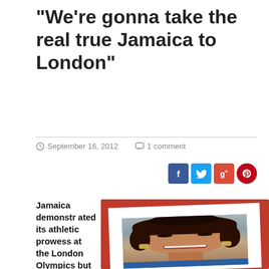“We’re gonna take the real true Jamaica to London”
September 16, 2012   1 comment
[Figure (photo): Portrait photo of a young woman with dark hair, smiling, wearing earrings, framed in a red photo-frame style border with white inner border]
Jamaica demonstrated its athletic prowess at the London Olympics but also